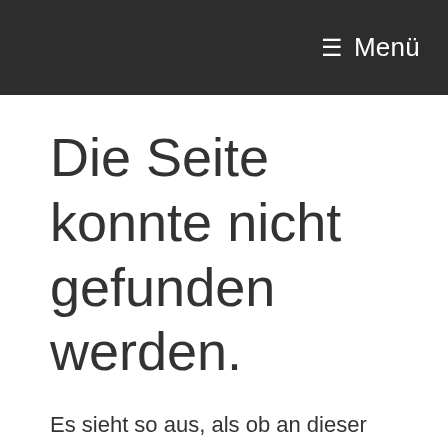≡ Menü
Die Seite konnte nicht gefunden werden.
Es sieht so aus, als ob an dieser Stelle nicht das
We use cookies on our website to give you the most relevant experience by remembering your preferences and repeat visits. By clicking "Accept All", you consent to the use of ALL the cookies. However, you may visit "Cookie Settings" to provide a controlled consent.
Cookie Settings | Accept All